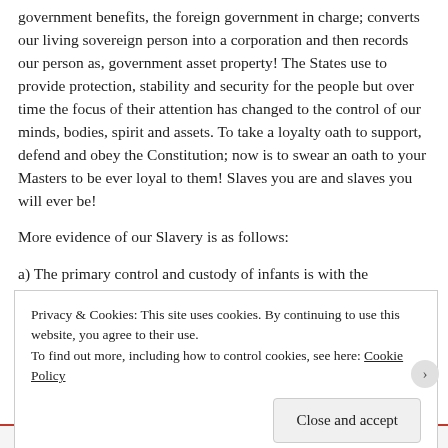government benefits, the foreign government in charge; converts our living sovereign person into a corporation and then records our person as, government asset property! The States use to provide protection, stability and security for the people but over time the focus of their attention has changed to the control of our minds, bodies, spirit and assets. To take a loyalty oath to support, defend and obey the Constitution; now is to swear an oath to your Masters to be ever loyal to them! Slaves you are and slaves you will ever be!
More evidence of our Slavery is as follows:
a) The primary control and custody of infants is with the
Privacy & Cookies: This site uses cookies. By continuing to use this website, you agree to their use.
To find out more, including how to control cookies, see here: Cookie Policy
Close and accept